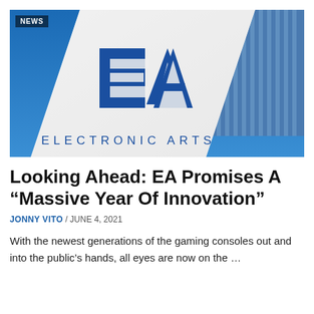[Figure (photo): Exterior photo of Electronic Arts (EA) headquarters building showing the EA logo and 'ELECTRONIC ARTS' text against a blue sky, with a striped glass skyscraper in the background.]
Looking Ahead: EA Promises A “Massive Year Of Innovation”
JONNY VITO / JUNE 4, 2021
With the newest generations of the gaming consoles out and into the public’s hands, all eyes are now on the …